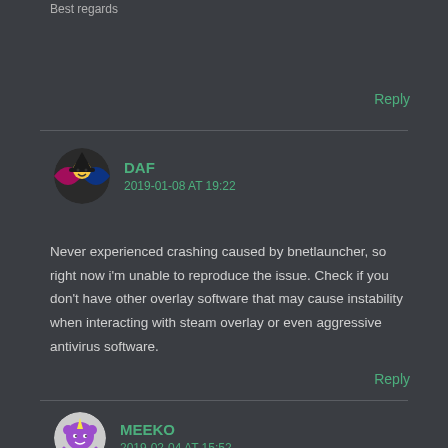Best regards
Reply
DAF
2019-01-08 AT 19:22
Never experienced crashing caused by bnetlauncher, so right now i'm unable to reproduce the issue. Check if you don't have other overlay software that may cause instability when interacting with steam overlay or even aggressive antivirus software.
Reply
MEEKO
2019-02-04 AT 15:52
OK, the bnetlauncher won't work if DirectX12 is enabled in Wow.